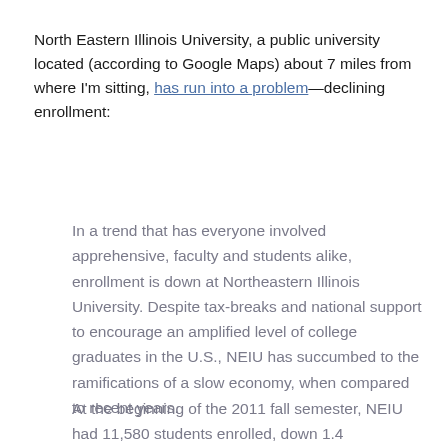North Eastern Illinois University, a public university located (according to Google Maps) about 7 miles from where I'm sitting, has run into a problem—declining enrollment:
In a trend that has everyone involved apprehensive, faculty and students alike, enrollment is down at Northeastern Illinois University. Despite tax-breaks and national support to encourage an amplified level of college graduates in the U.S., NEIU has succumbed to the ramifications of a slow economy, when compared to recent years.
At the beginning of the 2011 fall semester, NEIU had 11,580 students enrolled, down 1.4